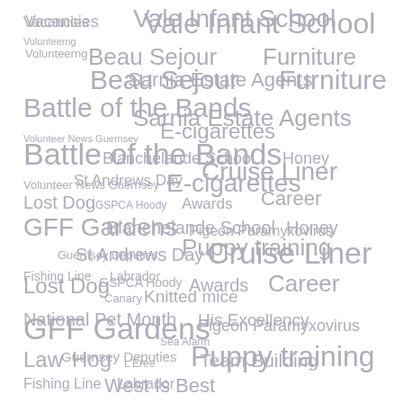[Figure (infographic): A word cloud containing various tags/topics in different font sizes, all in a muted gray/lavender color. Topics include: Vale Infant School, Beau Sejour, Furniture, Sarnia Estate Agents, Battle of the Bands, E-cigarettes, Blanchelande School, Honey, St Andrews Day, Cruise Liner, Lost Dog, GSPCA Hoody, Awards, Career, GFF Gardens, Pigeon Paramyxovirus, Guernsey Deputies, Puppy training, Fishing Line, Labrador, Canary, Knitted mice, National Pet Month, His Excellency, Sea Alarm, Law, Hog, L'Eree, Team Building, West Is Best, Vacancies, Volunteerng, Volunteer News Guernsey]